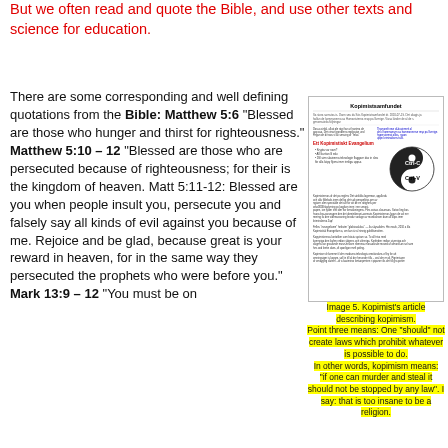But we often read and quote the Bible, and use other texts and science for education.
There are some corresponding and well defining quotations from the Bible: Matthew 5:6 "Blessed are those who hunger and thirst for righteousness." Matthew 5:10 – 12 "Blessed are those who are persecuted because of righteousness; for their is the kingdom of heaven. Matt 5:11-12: Blessed are you when people insult you, persecute you and falsely say all kinds of evil against you because of me. Rejoice and be glad, because great is your reward in heaven, for in the same way they persecuted the prophets who were before you." Mark 13:9 – 12 "You must be on
[Figure (screenshot): Screenshot of Kopimistsamfundet article page with yin-yang Ctrl-C/Ctrl-V logo]
Image 5. Kopimist's article describing kopimism. Point three means: One "should" not create laws which prohibit whatever is possible to do. In other words, kopimism means: "if one can murder and steal it should not be stopped by any law". I say: that is too insane to be a religion.